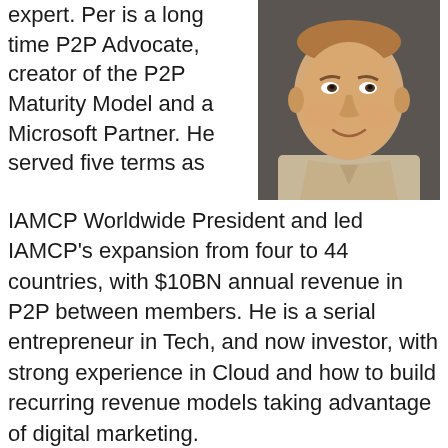expert. Per is a long time P2P Advocate, creator of the P2P Maturity Model and a Microsoft Partner. He served five terms as IAMCP Worldwide President and led IAMCP's expansion from four to 44 countries, with $10BN annual revenue in P2P between members. He is a serial entrepreneur in Tech, and now investor, with strong experience in Cloud and how to build recurring revenue models taking advantage of digital marketing.
[Figure (photo): Headshot of a middle-aged man smiling, wearing a beige/tan checkered shirt, against a dark background.]
He is a strong believer in diversity in all aspects and loves skiing!
The P2P Playbook can be downloaded here:
http://p2pmaturitymodel.com/resources/P2P%20Ma